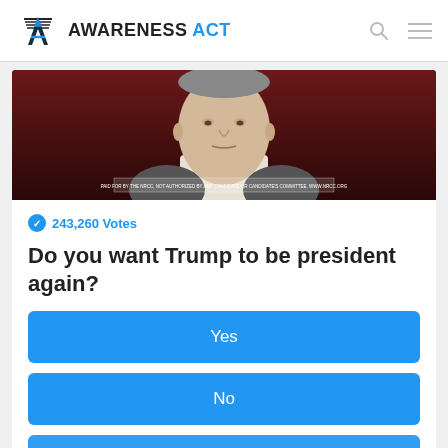AWARENESS ACT
[Figure (photo): Close-up photo of an older man in a suit against a dark red background, with a disclaimer bar at the bottom of the image]
243,260 Votes
Do you want Trump to be president again?
Yes
No
Not sure